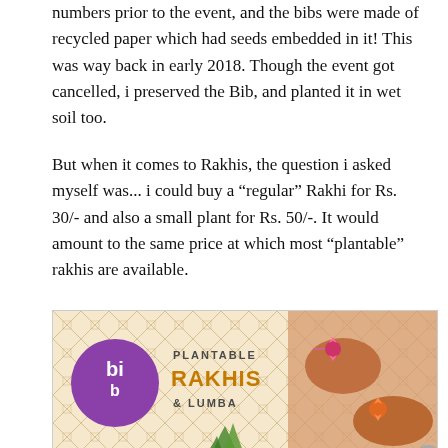numbers prior to the event, and the bibs were made of recycled paper which had seeds embedded in it! This was way back in early 2018. Though the event got cancelled, i preserved the Bib, and planted it in wet soil too.
But when it comes to Rakhis, the question i asked myself was... i could buy a “regular” Rakhi for Rs. 30/- and also a small plant for Rs. 50/-. It would amount to the same price at which most “plantable” rakhis are available.
[Figure (photo): Advertisement banner for 'bib Plantable Rakhis & Lumba' showing the bib logo in a purple circle on a gold geometric patterned background, with hands wearing rakhis on the right side.]
Advertisements
[Figure (infographic): Advertisement for 'ThePlatform Where WordPress Works Best' with Pressable logo on the right.]